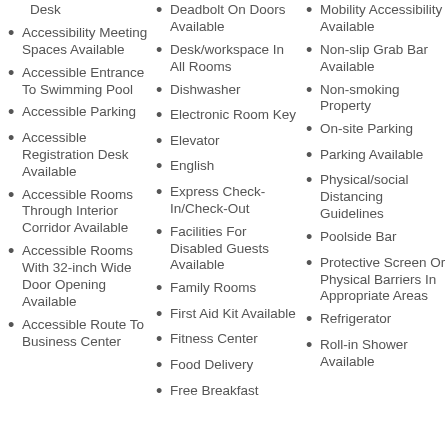Desk
Accessibility Meeting Spaces Available
Accessible Entrance To Swimming Pool
Accessible Parking
Accessible Registration Desk Available
Accessible Rooms Through Interior Corridor Available
Accessible Rooms With 32-inch Wide Door Opening Available
Accessible Route To Business Center
Deadbolt On Doors Available
Desk/workspace In All Rooms
Dishwasher
Electronic Room Key
Elevator
English
Express Check-In/Check-Out
Facilities For Disabled Guests Available
Family Rooms
First Aid Kit Available
Fitness Center
Food Delivery
Free Breakfast
Mobility Accessibility Available
Non-slip Grab Bar Available
Non-smoking Property
On-site Parking
Parking Available
Physical/social Distancing Guidelines
Poolside Bar
Protective Screen Or Physical Barriers In Appropriate Areas
Refrigerator
Roll-in Shower Available